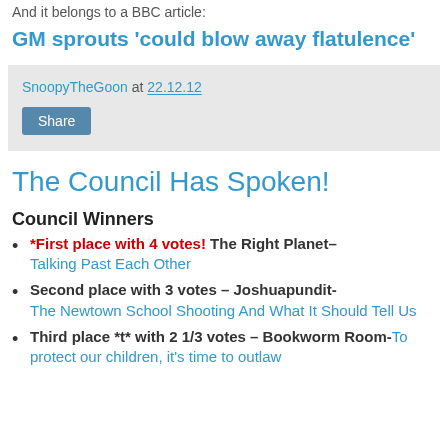And it belongs to a BBC article:
GM sprouts 'could blow away flatulence'
SnoopyTheGoon at 22.12.12 Share
The Council Has Spoken!
Council Winners
*First place with 4 votes! The Right Planet– Talking Past Each Other
Second place with 3 votes – Joshuapundit- The Newtown School Shooting And What It Should Tell Us
Third place *t* with 2 1/3 votes – Bookworm Room- To protect our children, it's time to outlaw